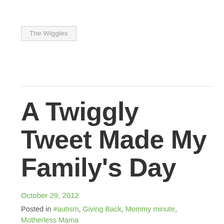The Wiggles
A Twiggly Tweet Made My Family's Day
October 29, 2012
Posted in #autism, Giving Back, Mommy minute, Motherless Mama, Motherless Mom